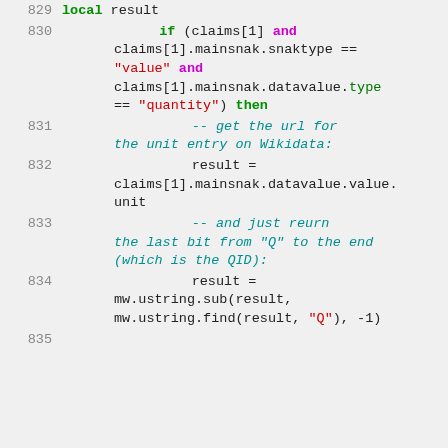[Figure (screenshot): Source code listing in Lua/wiki template language, lines 829-834, showing conditional logic for retrieving a unit entry URL from Wikidata claims and extracting a QID substring.]